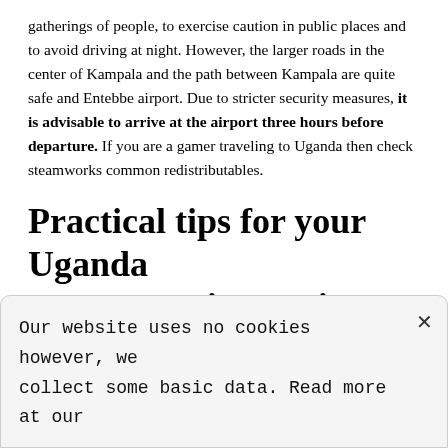gatherings of people, to exercise caution in public places and to avoid driving at night. However, the larger roads in the center of Kampala and the path between Kampala are quite safe and Entebbe airport. Due to stricter security measures, it is advisable to arrive at the airport three hours before departure. If you are a gamer traveling to Uganda then check steamworks common redistributables.
Practical tips for your Uganda group or private trip
A special highlight for every Uganda traveler is without a doubt a visit to the Bwindi Inpenetrable
Our website uses no cookies however, we collect some basic data. Read more at our